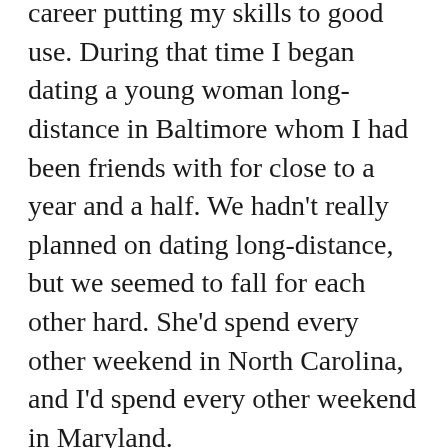career putting my skills to good use. During that time I began dating a young woman long-distance in Baltimore whom I had been friends with for close to a year and a half. We hadn't really planned on dating long-distance, but we seemed to fall for each other hard. She'd spend every other weekend in North Carolina, and I'd spend every other weekend in Maryland.
I had a great life in North Carolina. I was now roommates with my producer, Tom. He lived in a house near Five Points in Raleigh which was a quiet neighborhood. I'd left a bad roommate situation to move